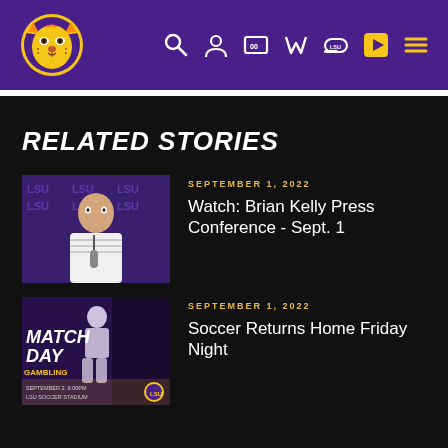[Figure (logo): LSU Tigers athletic logo with tiger face in purple header with navigation icons]
RELATED STORIES
[Figure (photo): Brian Kelly at press conference podium with LSU branding in background]
SEPTEMBER 1, 2022
Watch: Brian Kelly Press Conference - Sept. 1
[Figure (photo): Match Day promotional graphic with player silhouette and LSU soccer stadium info]
SEPTEMBER 1, 2022
Soccer Returns Home Friday Night